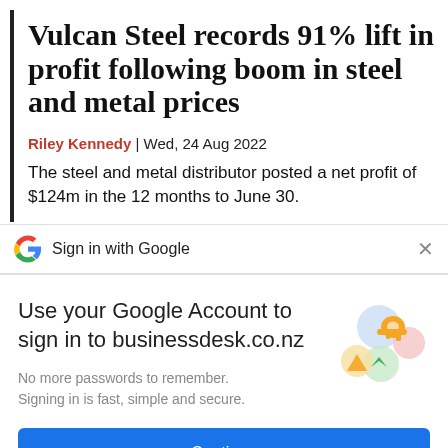Vulcan Steel records 91% lift in profit following boom in steel and metal prices
Riley Kennedy | Wed, 24 Aug 2022
The steel and metal distributor posted a net profit of $124m in the 12 months to June 30.
Sign in with Google
Use your Google Account to sign in to businessdesk.co.nz
No more passwords to remember. Signing in is fast, simple and secure.
[Figure (illustration): Google sign-in key and security icons illustration]
Continue